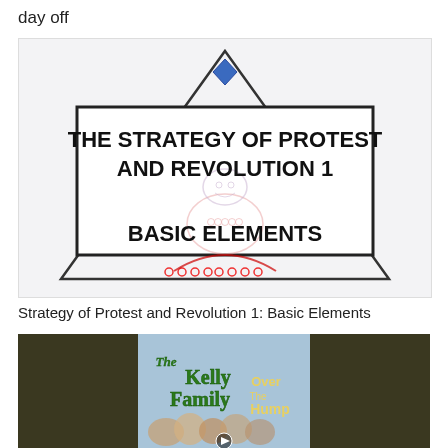day off
[Figure (illustration): A triangular pyramid diagram with a border rectangle inside. Text reads 'THE STRATEGY OF PROTEST AND REVOLUTION 1' and 'BASIC ELEMENTS'. A faded figure is shown inside the triangle. A blue diamond is at the apex.]
Strategy of Protest and Revolution 1: Basic Elements
[Figure (photo): The Kelly Family 'Over The Hump' album cover showing band members with text 'The Kelly Family Over The Hump' in decorative lettering, dark background on sides.]